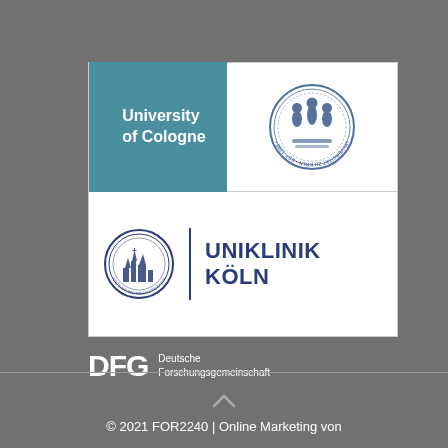[Figure (logo): University of Cologne logo — teal square with white text 'University of Cologne' and circular university seal]
[Figure (logo): Uniklinik Köln logo — circular seal, vertical divider, bold dark blue text 'UNIKLINIK KÖLN']
[Figure (logo): DFG logo — bold white letters 'DFG' with text 'Deutsche Forschungsgemeinschaft']
© 2021 FOR2240 | Online Marketing von